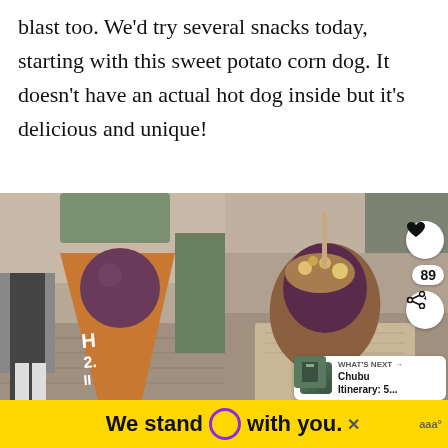blast too. We'd try several snacks today, starting with this sweet potato corn dog. It doesn't have an actual hot dog inside but it's delicious and unique!
[Figure (photo): Two photos side by side of a sweet potato corn dog. Left photo shows a purple/dark ball on a cone-shaped paper wrapper. Right photo shows the inside of the corn dog cut open, revealing purple sweet potato filling with toppings, with UI overlays including a heart icon, share button showing 89, and a 'What's Next' card for Chubu Itinerary.]
We stand O with you.